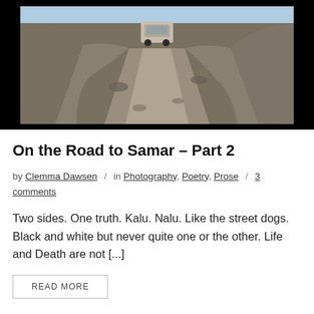[Figure (photo): A 4WD jeep/SUV driving on a narrow rocky mountain road cut into a steep hillside, viewed through a frame or window, with dark borders around the image.]
On the Road to Samar – Part 2
by Clemma Dawsen / in Photography, Poetry, Prose / 3 comments
Two sides. One truth. Kalu. Nalu. Like the street dogs. Black and white but never quite one or the other. Life and Death are not [...]
READ MORE